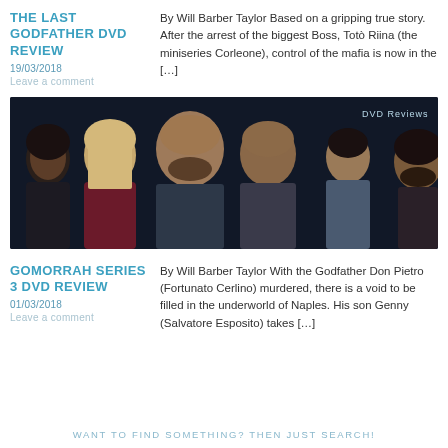THE LAST GODFATHER DVD REVIEW
19/03/2018
Leave a comment
By Will Barber Taylor Based on a gripping true story. After the arrest of the biggest Boss, Totò Riina (the miniseries Corleone), control of the mafia is now in the […]
[Figure (photo): Promotional image for Gomorrah Series 3 showing six cast members against a dark background, with 'DVD Reviews' badge in top right corner]
GOMORRAH SERIES 3 DVD REVIEW
01/03/2018
Leave a comment
By Will Barber Taylor With the Godfather Don Pietro (Fortunato Cerlino) murdered, there is a void to be filled in the underworld of Naples. His son Genny (Salvatore Esposito) takes […]
WANT TO FIND SOMETHING? THEN JUST SEARCH!